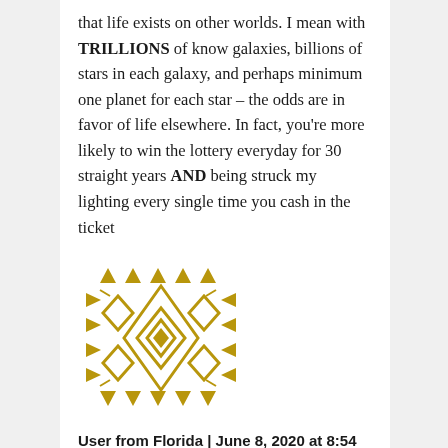that life exists on other worlds. I mean with TRILLIONS of know galaxies, billions of stars in each galaxy, and perhaps minimum one planet for each star – the odds are in favor of life elsewhere. In fact, you're more likely to win the lottery everyday for 30 straight years AND being struck my lighting every single time you cash in the ticket
[Figure (illustration): A decorative geometric avatar icon made of golden/yellow diamond and triangle patterns arranged symmetrically]
User from Florida | June 8, 2020 at 8:54 pm | Reply
Patrick Church, first of all I am a lady not a sir. I don't consider stargazing as a